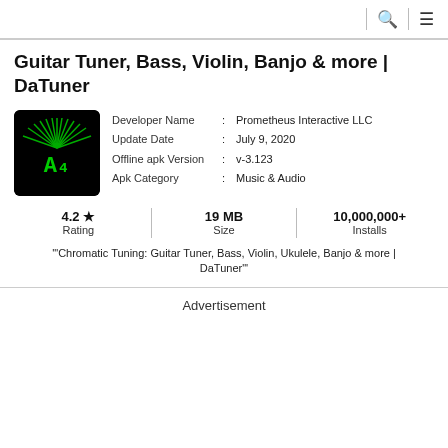search menu
Guitar Tuner, Bass, Violin, Banjo & more | DaTuner
[Figure (logo): DaTuner app icon: black background with green LED display showing 'A4' and radiating green lines above]
Developer Name : Prometheus Interactive LLC
Update Date : July 9, 2020
Offline apk Version : v-3.123
Apk Category : Music & Audio
4.2 ★ Rating | 19 MB Size | 10,000,000+ Installs
'"Chromatic Tuning: Guitar Tuner, Bass, Violin, Ukulele, Banjo & more | DaTuner"'
Advertisement